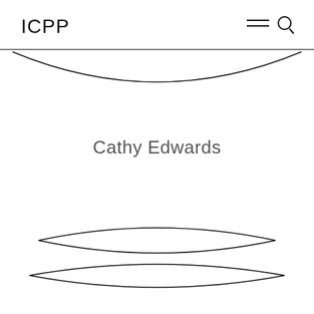ICPP
[Figure (illustration): Abstract lens/eye shape formed by two curved lines — a straight horizontal line at top and a concave arc curving downward, creating a lens-like shape in the upper portion of the page]
Cathy Edwards
[Figure (illustration): Two convex lens shapes formed by pairs of curved lines in the lower portion of the page — each pair curves outward forming eye/lens shapes]